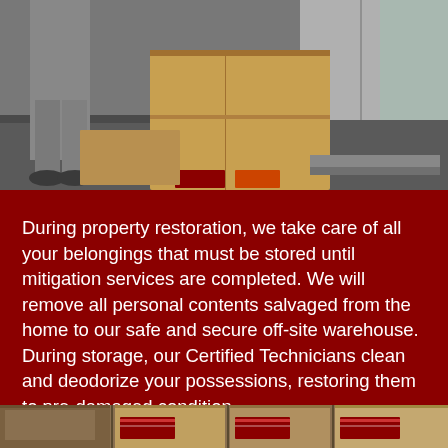[Figure (photo): Workers loading or unloading cardboard boxes in a warehouse or truck, scene shows workers' lower bodies and large brown cardboard boxes on a diamond-plate floor surface]
During property restoration, we take care of all your belongings that must be stored until mitigation services are completed. We will remove all personal contents salvaged from the home to our safe and secure off-site warehouse. During storage, our Certified Technicians clean and deodorize your possessions, restoring them to pre-damaged condition.
[Figure (photo): Bottom strip showing cardboard boxes stacked, some with red labels/stickers, in a warehouse setting]